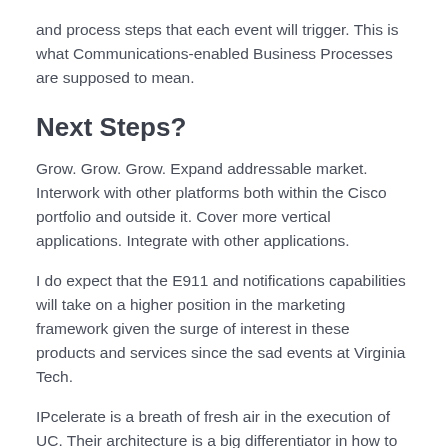and process steps that each event will trigger. This is what Communications-enabled Business Processes are supposed to mean.
Next Steps?
Grow. Grow. Grow. Expand addressable market. Interwork with other platforms both within the Cisco portfolio and outside it. Cover more vertical applications. Integrate with other applications.
I do expect that the E911 and notifications capabilities will take on a higher position in the marketing framework given the surge of interest in these products and services since the sad events at Virginia Tech.
IPcelerate is a breath of fresh air in the execution of UC. Their architecture is a big differentiator in how to build real-time applications and business processes for